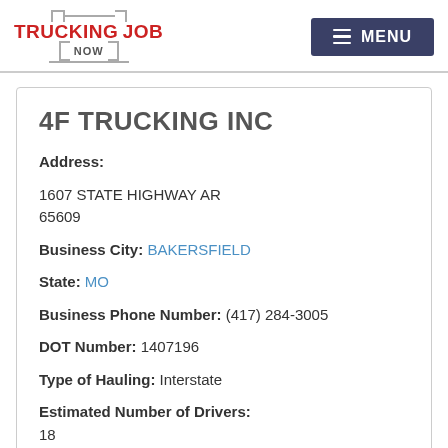TRUCKING JOB NOW — MENU
4F TRUCKING INC
Address: 1607 STATE HIGHWAY AR 65609
Business City: BAKERSFIELD
State: MO
Business Phone Number: (417) 284-3005
DOT Number: 1407196
Type of Hauling: Interstate
Estimated Number of Drivers: 18